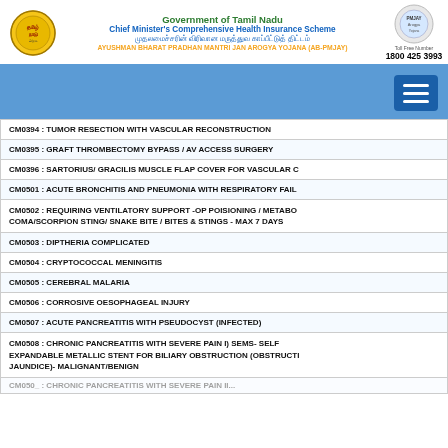Government of Tamil Nadu
Chief Minister's Comprehensive Health Insurance Scheme
AYUSHMAN BHARAT PRADHAN MANTRI JAN AROGYA YOJANA (AB-PMJAY)
Toll Free Number: 1800 425 3993
| CM0394 : TUMOR RESECTION WITH VASCULAR RECONSTRUCTION |
| CM0395 : GRAFT THROMBECTOMY BYPASS / AV ACCESS SURGERY |
| CM0396 : SARTORIUS/ GRACILIS MUSCLE FLAP COVER FOR VASCULAR C |
| CM0501 : ACUTE BRONCHITIS AND PNEUMONIA WITH RESPIRATORY FAIL |
| CM0502 : REQUIRING VENTILATORY SUPPORT -OP POISIONING / METABO COMA/SCORPION STING/ SNAKE BITE / BITES & STINGS - MAX 7 DAYS |
| CM0503 : DIPTHERIA COMPLICATED |
| CM0504 : CRYPTOCOCCAL MENINGITIS |
| CM0505 : CEREBRAL MALARIA |
| CM0506 : CORROSIVE OESOPHAGEAL INJURY |
| CM0507 : ACUTE PANCREATITIS WITH PSEUDOCYST (INFECTED) |
| CM0508 : CHRONIC PANCREATITIS WITH SEVERE PAIN I) SEMS- SELF EXPANDABLE METALLIC STENT FOR BILIARY OBSTRUCTION (OBSTRUCTI JAUNDICE)- MALIGNANT/BENIGN |